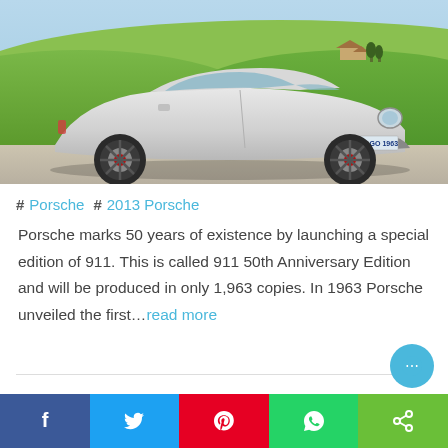[Figure (photo): Silver Porsche 911 50th Anniversary Edition parked on a gravel road with rolling green hills and a Tuscan-style farmhouse in the background. License plate reads S GO 1963.]
# Porsche # 2013 Porsche
Porsche marks 50 years of existence by launching a special edition of 911. This is called 911 50th Anniversary Edition and will be produced in only 1,963 copies. In 1963 Porsche unveiled the first...read more